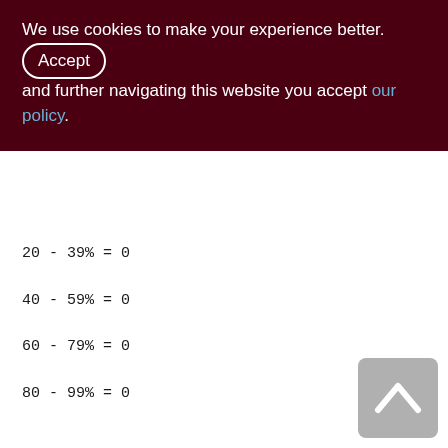We use cookies to make your experience better. By accepting and further navigating this website you accept our policy.
20 - 39% = 0
40 - 59% = 0
60 - 79% = 0
80 - 99% = 0
Index XQD_2000_3300_WARE_SOP_ROP_SND (0)
Root page: 788, depth: 1, leaf buckets: 1, nodes: 0
Average node length: 0.00, total dup: 0, max dup: 0
Average key length: 0.00, compression ratio: 0.00
Average prefix length: 0.00, average data